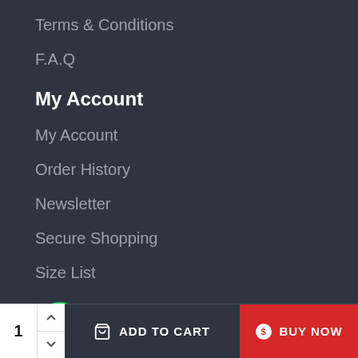Terms & Conditions
F.A.Q
My Account
My Account
Order History
Newsletter
Secure Shopping
Size List
Customer Service
Contact
[Figure (other): Bottom action bar with quantity selector showing '1', 'ADD TO CART' button, and red 'BUY NOW' button with WhatsApp icon]